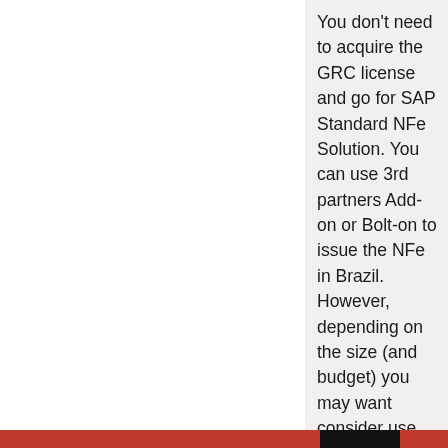You don't need to acquire the GRC license and go for SAP Standard NFe Solution. You can use 3rd partners Add-on or Bolt-on to issue the NFe in Brazil. However, depending on the size (and budget) you may want consider use SAP Solution... But the investment is high... I mean, very high... 5x more than using a 3rd partner tool for that. Standard SAP also will requires
Advertisements
Privacy & Cookies: This site uses cookies. By continuing to use this website, you agree to their use.
To find out more, including how to control cookies, see here: Cookie Policy
Close and accept